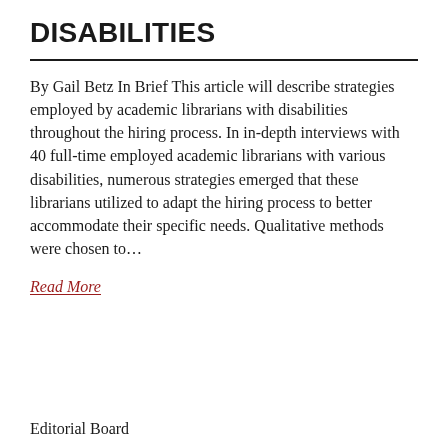DISABILITIES
By Gail Betz In Brief This article will describe strategies employed by academic librarians with disabilities throughout the hiring process. In in-depth interviews with 40 full-time employed academic librarians with various disabilities, numerous strategies emerged that these librarians utilized to adapt the hiring process to better accommodate their specific needs. Qualitative methods were chosen to…
Read More
Editorial Board